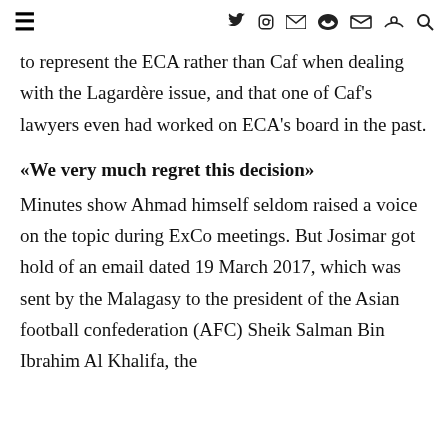≡  f  y  ◎  ✉  ▲  ⌕
to represent the ECA rather than Caf when dealing with the Lagardère issue, and that one of Caf's lawyers even had worked on ECA's board in the past.
«We very much regret this decision»
Minutes show Ahmad himself seldom raised a voice on the topic during ExCo meetings. But Josimar got hold of an email dated 19 March 2017, which was sent by the Malagasy to the president of the Asian football confederation (AFC) Sheik Salman Bin Ibrahim Al Khalifa, the